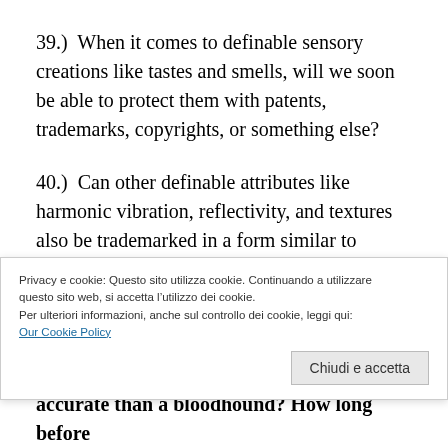39.)  When it comes to definable sensory creations like tastes and smells, will we soon be able to protect them with patents, trademarks, copyrights, or something else?
40.)  Can other definable attributes like harmonic vibration, reflectivity, and textures also be trademarked in a form similar to “sonic branding?”
41.)  How long will it be before we create “attribute
Privacy e cookie: Questo sito utilizza cookie. Continuando a utilizzare questo sito web, si accetta l’utilizzo dei cookie.
Per ulteriori informazioni, anche sul controllo dei cookie, leggi qui:
Our Cookie Policy
Chiudi e accetta
accurate than a bloodhound? How long before